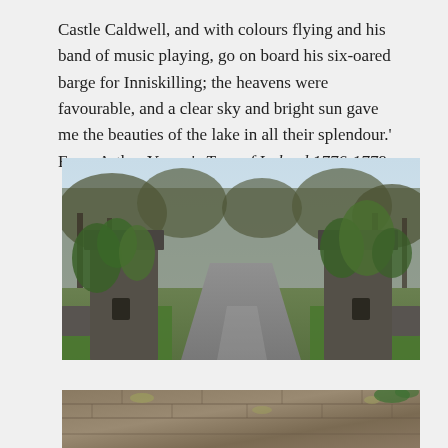Castle Caldwell, and with colours flying and his band of music playing, go on board his six-oared barge for Inniskilling; the heavens were favourable, and a clear sky and bright sun gave me the beauties of the lake in all their splendour.' From Arthur Young's Tour of Ireland 1776-1779.
[Figure (photo): Photograph of ruined ivy-covered stone gate pillars flanking a wet tarmac road, with bare winter trees in the background and grass verges on either side. The gateway leads to what appears to be a historic estate.]
[Figure (photo): Close-up photograph of an old stone wall with lichen and moss, partially cropped at the bottom of the page.]